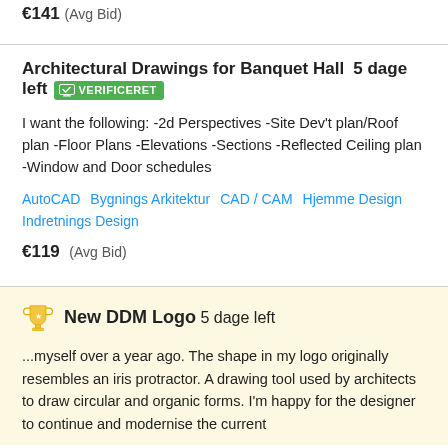€141 (Avg Bid)
Architectural Drawings for Banquet Hall  5 dage left  VERIFICERET
I want the following: -2d Perspectives -Site Dev't plan/Roof plan -Floor Plans -Elevations -Sections -Reflected Ceiling plan -Window and Door schedules
AutoCAD  Bygnings Arkitektur  CAD / CAM  Hjemme Design  Indretnings Design
€119  (Avg Bid)
New DDM Logo  5 dage left
...myself over a year ago. The shape in my logo originally resembles an iris protractor. A drawing tool used by architects to draw circular and organic forms. I'm happy for the designer to continue and modernise the current